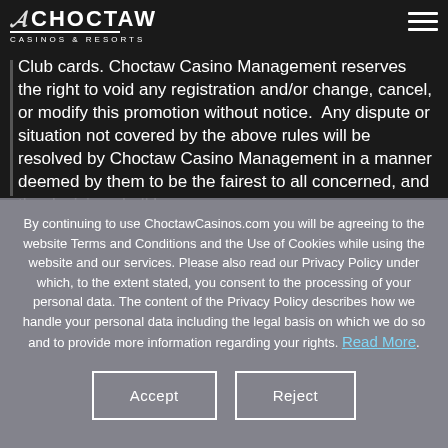Choctaw Casinos & Resorts
Club cards. Choctaw Casino Management reserves the right to void any registration and/or change, cancel, or modify this promotion without notice. Any dispute or situation not covered by the above rules will be resolved by Choctaw Casino Management in a manner deemed by them to be the fairest to all concerned, and the decision shall be
By continuing to use ChoctawCasinos.com you will be agreeing to the website Terms and Conditions and the Use of Cookies while using the website and our services. Please also read our Privacy Policy under which, to the extent stated, you consent to the processing of your personal data. The content of the Privacy Policy describes how we handle your personal data including the legal basis on which we do so and to provide more information regarding your rights. Read More.
Accept
Reject